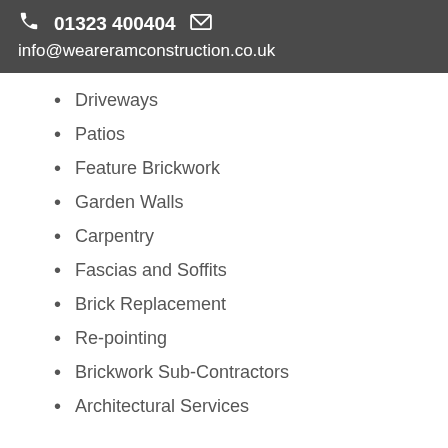📞 01323 400404  ✉  info@weareramconstruction.co.uk
Driveways
Patios
Feature Brickwork
Garden Walls
Carpentry
Fascias and Soffits
Brick Replacement
Re-pointing
Brickwork Sub-Contractors
Architectural Services